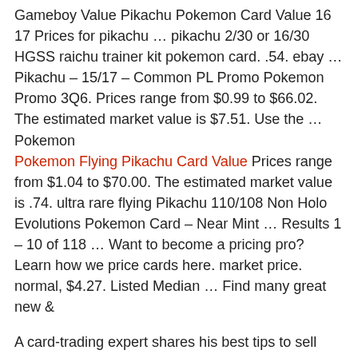Gameboy Value Pikachu Pokemon Card Value 16 17 Prices for pikachu … pikachu 2/30 or 16/30 HGSS raichu trainer kit pokemon card. .54. ebay … Pikachu – 15/17 – Common PL Promo Pokemon Promo 3Q6. Prices range from $0.99 to $66.02. The estimated market value is $7.51. Use the … Pokemon
Pokemon Flying Pikachu Card Value Prices range from $1.04 to $70.00. The estimated market value is .74. ultra rare flying Pikachu 110/108 Non Holo Evolutions Pokemon Card – Near Mint … Results 1 – 10 of 118 … Want to become a pricing pro? Learn how we price cards here. market price. normal, $4.27. Listed Median … Find many great new &
A card-trading expert shares his best tips to sell pokemon cards. Plus, how to assess your cards' rarity and condition. by Adam hardy staff writer The resurgence of Pokemon — thanks to a new movie and video game set for release soon — has y…